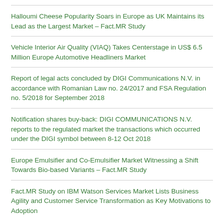Halloumi Cheese Popularity Soars in Europe as UK Maintains its Lead as the Largest Market – Fact.MR Study
Vehicle Interior Air Quality (VIAQ) Takes Centerstage in US$ 6.5 Million Europe Automotive Headliners Market
Report of legal acts concluded by DIGI Communications N.V. in accordance with Romanian Law no. 24/2017 and FSA Regulation no. 5/2018 for September 2018
Notification shares buy-back: DIGI COMMUNICATIONS N.V. reports to the regulated market the transactions which occurred under the DIGI symbol between 8-12 Oct 2018
Europe Emulsifier and Co-Emulsifier Market Witnessing a Shift Towards Bio-based Variants – Fact.MR Study
Fact.MR Study on IBM Watson Services Market Lists Business Agility and Customer Service Transformation as Key Motivations to Adoption